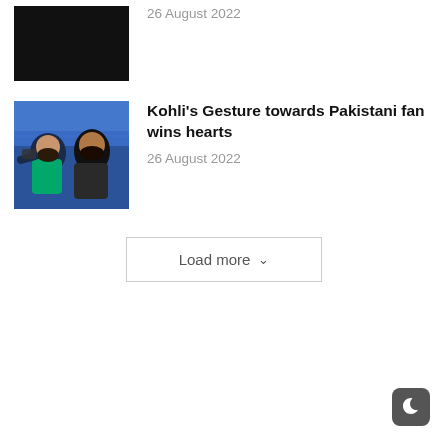[Figure (photo): Dark/black thumbnail image at top left, partially cropped]
26 August 2022
[Figure (photo): Photo of two men, one in teal cricket jersey, taking a selfie at what appears to be a stadium]
Kohli's Gesture towards Pakistani fan wins hearts
26 August 2022
[Figure (other): Dark mode toggle button icon (crescent moon) at bottom right corner]